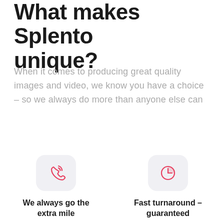What makes Splento unique?
When it comes to producing great quality images and video, we know you have a choice – so we always do more than anyone else can
[Figure (illustration): Phone/call icon in pink/red color inside a rounded rectangle card]
We always go the extra mile
Our answer is Yes. Now — what was your question?
[Figure (illustration): Pie/clock chart icon in pink/red color inside a rounded rectangle card]
Fast turnaround – guaranteed
You will have your photos or video footage